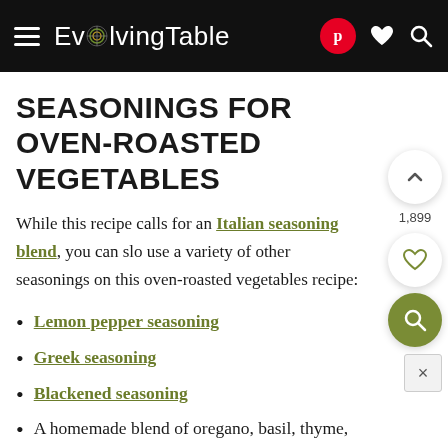EvolvingTable
SEASONINGS FOR OVEN-ROASTED VEGETABLES
While this recipe calls for an Italian seasoning blend, you can slo use a variety of other seasonings on this oven-roasted vegetables recipe:
Lemon pepper seasoning
Greek seasoning
Blackened seasoning
A homemade blend of oregano, basil, thyme, and rosemary.